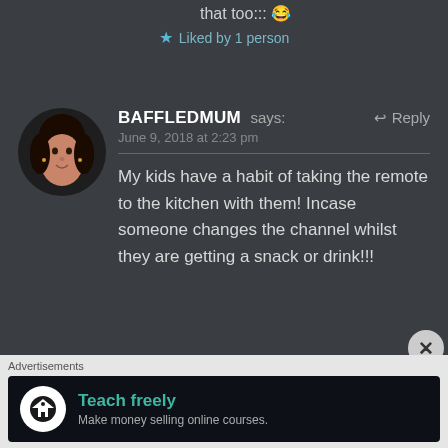that too::: 😂
★ Liked by 1 person
BAFFLEDMUM says:   ↩ Reply
June 9, 2018 at 2:23 pm
My kids have a habit of taking the remote to the kitchen with them! Incase someone changes the channel whilst they are getting a snack or drink!!!
★ Liked by 3 people
Advertisements
Teach freely
Make money selling online courses.